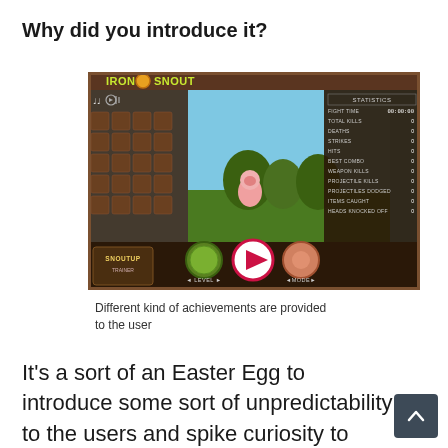Why did you introduce it?
[Figure (screenshot): Screenshot of the Iron Snout game showing statistics panel with fight time 00:00:00, total kills 0, deaths 0, strikes 0, hits 0, best combo 0, weapon kills 0, projectile kills 0, projectiles dodged 0, items caught 0, heads knocked off 0. The game shows a pink pig character in a forest setting with a level grid on the left and game controls at the bottom.]
Different kind of achievements are provided to the user
It's a sort of an Easter Egg to introduce some sort of unpredictability to the users and spike curiosity to continue playing—in one of the areas, an enemy